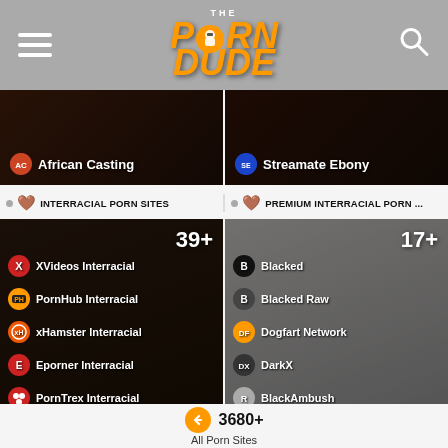The Porn Dude
[Figure (screenshot): African Casting thumbnail - dark skinned person closeup]
[Figure (screenshot): Streamate Ebony thumbnail - dark skinned person closeup]
INTERRACIAL PORN SITES
PREMIUM INTERRACIAL PORN ...
[Figure (screenshot): Interracial Porn Sites card showing 39+ sites including XVideos Interracial, PornHub Interracial, xHamster Interracial, Eporner Interracial, PornTrex Interracial]
[Figure (screenshot): Premium Interracial Porn card showing 17+ sites including Blacked, Blacked Raw, Dogfart Network, DarkX, BlackAmbush]
3680+
All Porn Sites